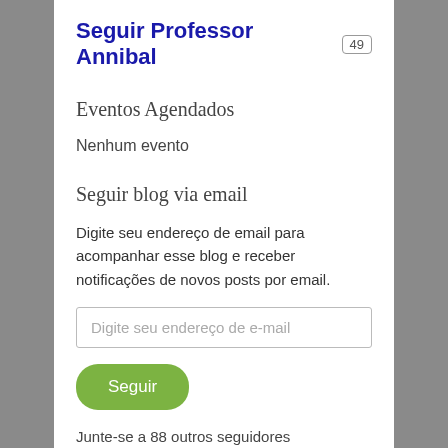Seguir Professor Annibal 49
Eventos Agendados
Nenhum evento
Seguir blog via email
Digite seu endereço de email para acompanhar esse blog e receber notificações de novos posts por email.
Digite seu endereço de e-mail
Seguir
Junte-se a 88 outros seguidores